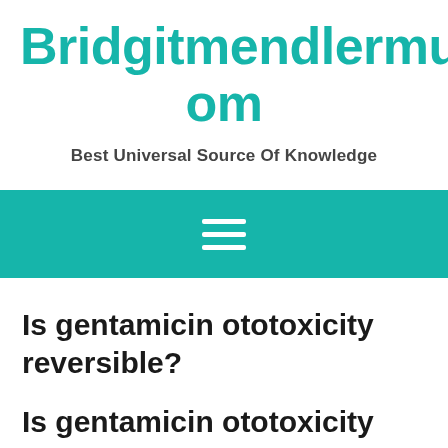Bridgitmendlermusic.Com
Best Universal Source Of Knowledge
[Figure (other): Teal navigation bar with hamburger menu icon (three white horizontal lines)]
Is gentamicin ototoxicity reversible?
Is gentamicin ototoxicity